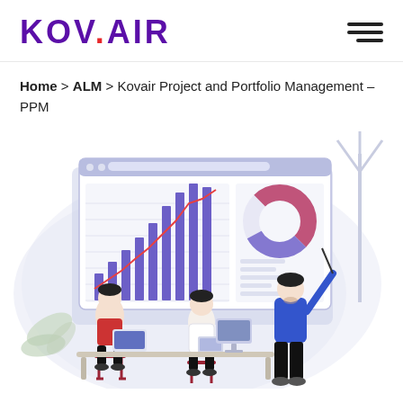[Figure (logo): Kovair logo with purple text and red dot above the letter A]
Home > ALM > Kovair Project and Portfolio Management – PPM
[Figure (illustration): Flat vector illustration of three business professionals analyzing charts and data on a large monitor dashboard. Two people are seated and one is standing pointing at a donut chart. A bar chart and line chart are visible on the screen. Background has a soft blob shape.]